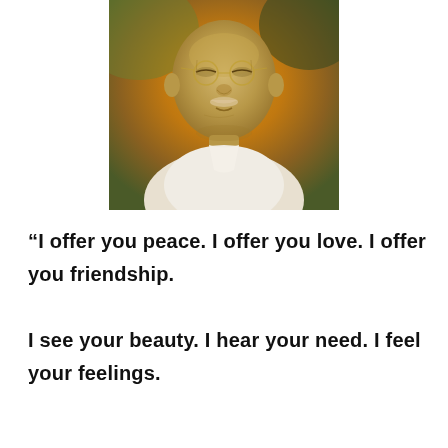[Figure (photo): Portrait illustration of Mahatma Gandhi, showing his face and upper torso, wearing white clothing and round glasses, against an orange-brown and greenish background]
“I offer you peace. I offer you love. I offer you friendship.

I see your beauty. I hear your need. I feel your feelings.